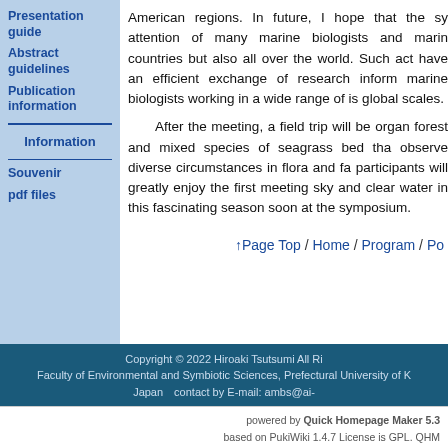Presentation guide
Abstract guidelines
Publication information
Information
Souvenir
pdf files
American regions. In future, I hope that the sy- attention of many marine biologists and marin- countries but also all over the world. Such act- have an efficient exchange of research inform- marine biologists working in a wide range of is- global scales.
After the meeting, a field trip will be organ- forest and mixed species of seagrass bed tha- observe diverse circumstances in flora and fa- participants will greatly enjoy the first meeting sky and clear water in this fascinating season- soon at the symposium.
↑Page Top / Home / Program / Po-
Copyright © 2022 Hiroaki Tsutsumi All Ri- Faculty of Environmental and Symbiotic Sciences, Prefectural University of K- Japan　contact by E-mail: ambs@ai-
powered by Quick Homepage Maker 5.3 based on PukiWiki 1.4.7 License is GPL. QHM